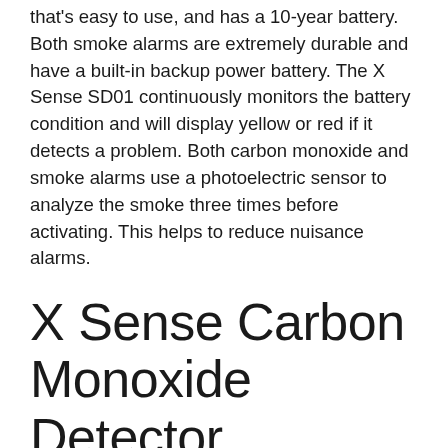that's easy to use, and has a 10-year battery. Both smoke alarms are extremely durable and have a built-in backup power battery. The X Sense SD01 continuously monitors the battery condition and will display yellow or red if it detects a problem. Both carbon monoxide and smoke alarms use a photoelectric sensor to analyze the smoke three times before activating. This helps to reduce nuisance alarms.
X Sense Carbon Monoxide Detector
An X Sense Carbon Monoxide & Smoke Detector has a wireless network and is compatible with other X-Sense alarms. These